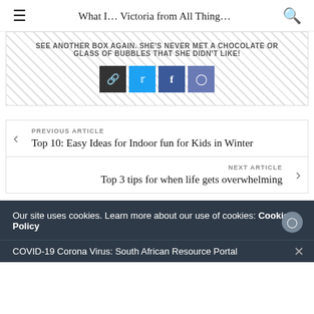What I... Victoria from All Thing...
SEE ANOTHER BOX AGAIN. SHE'S NEVER MET A CHOCOLATE OR GLASS OF BUBBLES THAT SHE DIDN'T LIKE!
[Figure (other): Social media icon buttons: link, Twitter, Facebook, Instagram]
PREVIOUS ARTICLE
Top 10: Easy Ideas for Indoor fun for Kids in Winter
NEXT ARTICLE
Top 3 tips for when life gets overwhelming
Our site uses cookies. Learn more about our use of cookies: Cookie Policy
COVID-19 Corona Virus: South African Resource Portal